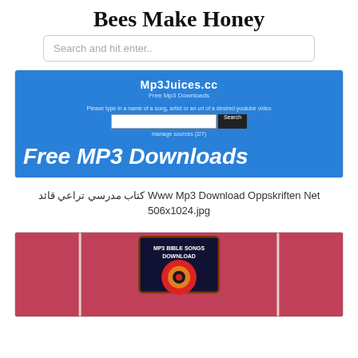Bees Make Honey
Search and hit enter..
[Figure (screenshot): Screenshot of Mp3Juices.cc website showing blue background with logo, search bar with Search button, manage sources link, and large bold italic text 'Free MP3 Downloads']
كتاب مدرسي تراعي قائد Www Mp3 Download Oppskriften Net 506x1024.jpg
[Figure (photo): Pink/red background with headphone cords and a badge/patch showing MP3 BIBLE SONGS DOWNLOAD text with a colorful circular logo]